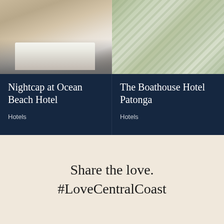[Figure (photo): Hotel room photo showing a neatly made bed with white linens and grey base, dark carpet floor, beige walls]
Nightcap at Ocean Beach Hotel
Hotels
[Figure (photo): Aerial view of outdoor dining area with people seated at tables under shade, waterside restaurant setting]
The Boathouse Hotel Patonga
Hotels
Share the love. #LoveCentralCoast